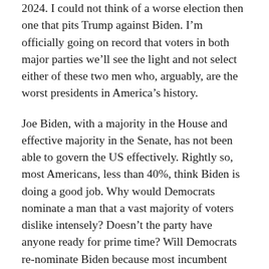2024. I could not think of a worse election then one that pits Trump against Biden. I'm officially going on record that voters in both major parties we'll see the light and not select either of these two men who, arguably, are the worst presidents in America's history.
Joe Biden, with a majority in the House and effective majority in the Senate, has not been able to govern the US effectively. Rightly so, most Americans, less than 40%, think Biden is doing a good job. Why would Democrats nominate a man that a vast majority of voters dislike intensely? Doesn't the party have anyone ready for prime time? Will Democrats re-nominate Biden because most incumbent presidents historically are renominated regardless of their performance? How stupid is that strategy?